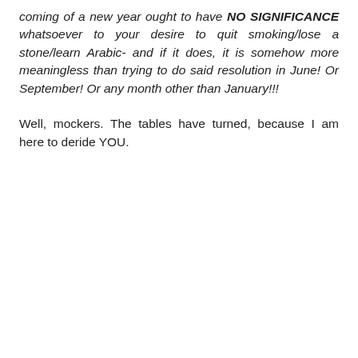coming of a new year ought to have NO SIGNIFICANCE whatsoever to your desire to quit smoking/lose a stone/learn Arabic- and if it does, it is somehow more meaningless than trying to do said resolution in June! Or September! Or any month other than January!!!
Well, mockers. The tables have turned, because I am here to deride YOU.